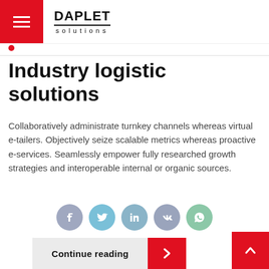DAPLET solutions
Industry logistic solutions
Collaboratively administrate turnkey channels whereas virtual e-tailers. Objectively seize scalable metrics whereas proactive e-services. Seamlessly empower fully researched growth strategies and interoperable internal or organic sources.
[Figure (infographic): Row of five social media circular icon buttons: Facebook (blue-grey), Twitter (light blue), LinkedIn (steel blue), VK (blue-grey), WhatsApp (green)]
[Figure (infographic): Continue reading button with light grey background text area and red arrow button on right side. Red scroll-to-top button at bottom right corner.]